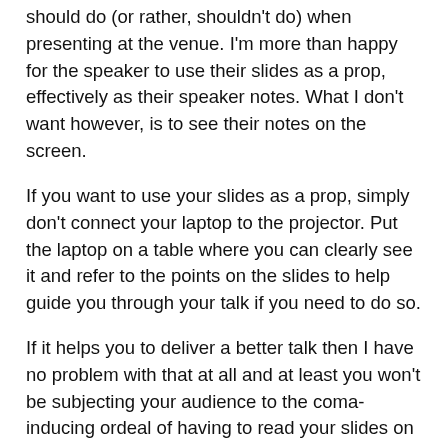should do (or rather, shouldn't do) when presenting at the venue. I'm more than happy for the speaker to use their slides as a prop, effectively as their speaker notes. What I don't want however, is to see their notes on the screen.
If you want to use your slides as a prop, simply don't connect your laptop to the projector. Put the laptop on a table where you can clearly see it and refer to the points on the slides to help guide you through your talk if you need to do so.
If it helps you to deliver a better talk then I have no problem with that at all and at least you won't be subjecting your audience to the coma-inducing ordeal of having to read your slides on the screen.